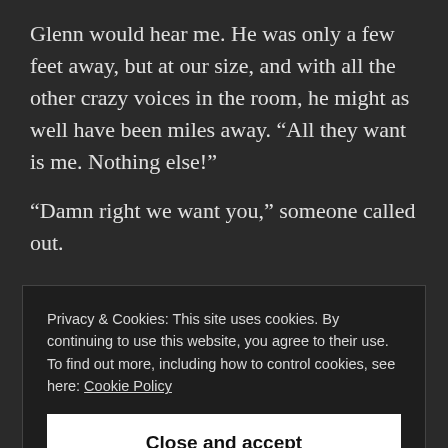Glenn would hear me. He was only a few feet away, but at our size, and with all the other crazy voices in the room, he might as well have been miles away. “All they want is me. Nothing else!”
“Damn right we want you,” someone called out.
My quail friend replied, “F#ck!” I had to hope he
Privacy & Cookies: This site uses cookies. By continuing to use this website, you agree to their use.
To find out more, including how to control cookies, see here: Cookie Policy
Close and accept
size of a turkey at this point. Birds and large bugs